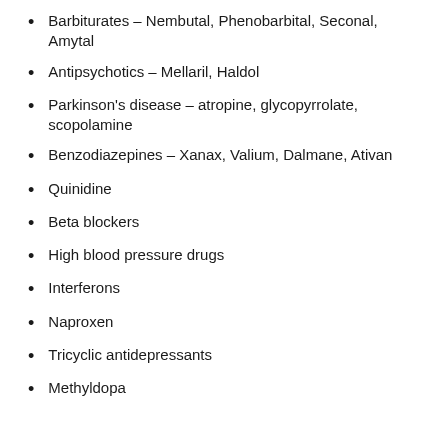Barbiturates – Nembutal, Phenobarbital, Seconal, Amytal
Antipsychotics – Mellaril, Haldol
Parkinson's disease – atropine, glycopyrrolate, scopolamine
Benzodiazepines – Xanax, Valium, Dalmane, Ativan
Quinidine
Beta blockers
High blood pressure drugs
Interferons
Naproxen
Tricyclic antidepressants
Methyldopa